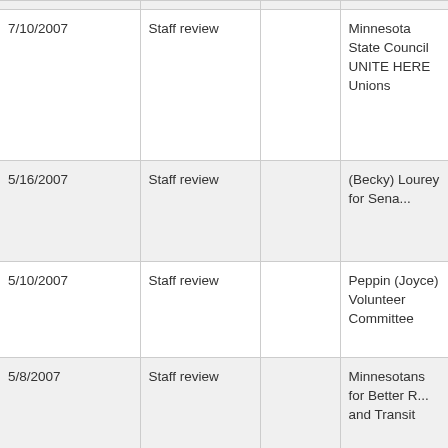| 7/10/2007 | Staff review |  | Minnesota State Council UNITE HERE Unions |
| 5/16/2007 | Staff review |  | (Becky) Lourey for Sena... |
| 5/10/2007 | Staff review |  | Peppin (Joyce) Volunteer Committee |
| 5/8/2007 | Staff review |  | Minnesotans for Better R... and Transit |
| 5/8/2007 | Staff review |  | Boulay Heutmaker Zibel... Co. PLLP |